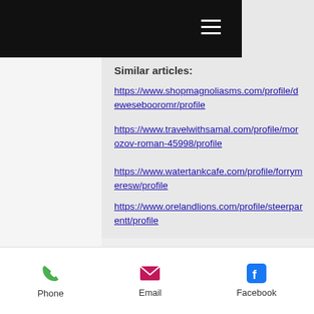Navigation bar with hamburger menu
Similar articles:
https://www.shopmagnoliasms.com/profile/dewesebooromr/profile
https://www.travelwithsamal.com/profile/morozov-roman-45998/profile
https://www.watertankcafe.com/profile/forrymeresw/profile
https://www.orelandlions.com/profile/steerparentt/profile
DRONES FOR HIGHER DRONE PHOTOGRAPHER
Phone   Email   Facebook